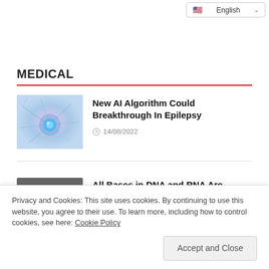🇺🇸 English
MEDICAL
[Figure (illustration): Close-up illustration of a neuron with glowing blue center and branching dendrites against a soft purple-pink background]
New AI Algorithm Could Breakthrough In Epilepsy
14/08/2022
[Figure (photo): Dark rocky meteorite specimen photographed against a plain background]
All Bases in DNA and RNA Are Present in Meteorites
Privacy and Cookies: This site uses cookies. By continuing to use this website, you agree to their use. To learn more, including how to control cookies, see here: Cookie Policy
Accept and Close